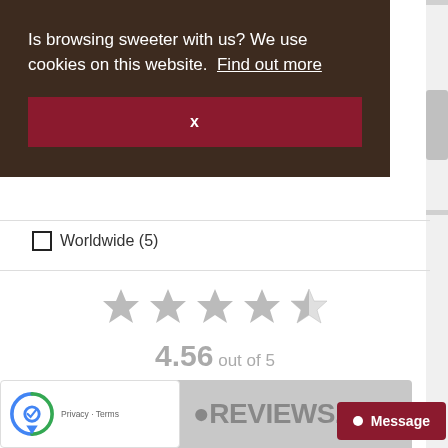[Figure (screenshot): Cookie consent banner with dark brown background. Text reads 'Is browsing sweeter with us? We use cookies on this website. Find out more' with a dark red close button labeled 'x'.]
Worldwide (5)
[Figure (other): 4.5 out of 5 star rating display (4 full stars and 1 half star, all in grey). Shows '4.56 out of 5' and '432 Reviews' below the stars.]
[Figure (logo): REVIEWS.io logo banner in grey at the bottom. reCAPTCHA badge on the bottom left showing Google reCAPTCHA icon with Privacy and Terms links.]
[Figure (other): Dark red 'Message' button in the bottom right corner with a white circle dot icon.]